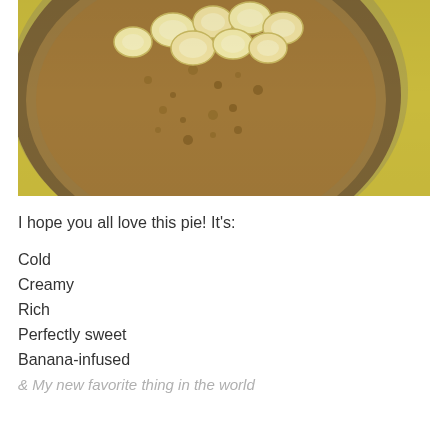[Figure (photo): A close-up photo of a banana cream pie in a glass dish, topped with sliced bananas and a brown crumble layer, set on a yellow background.]
I hope you all love this pie! It's:
Cold
Creamy
Rich
Perfectly sweet
Banana-infused
& My new favorite thing in the world